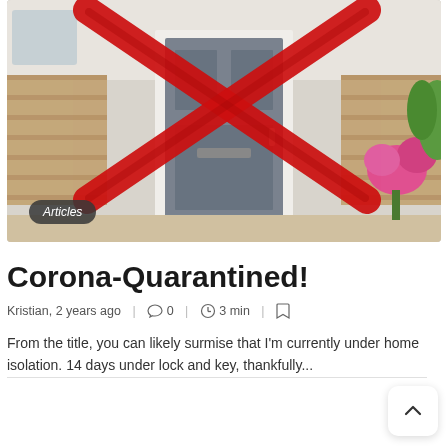[Figure (photo): A grey front door of a house with a large red X painted across it, surrounded by brick walls and pink flowers on the right. An 'Articles' badge is overlaid in the bottom-left corner of the image.]
Corona-Quarantined!
Kristian, 2 years ago  |  0  |  3 min  |
From the title, you can likely surmise that I'm currently under home isolation. 14 days under lock and key, thankfully...